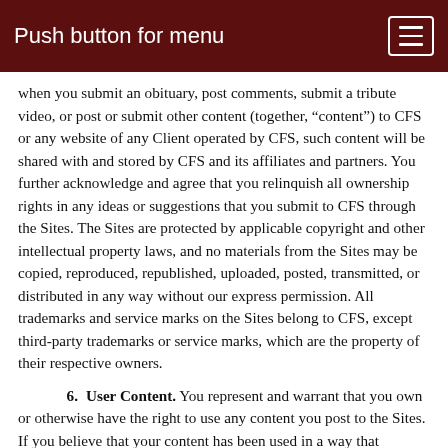Push button for menu
when you submit an obituary, post comments, submit a tribute video, or post or submit other content (together, “content”) to CFS or any website of any Client operated by CFS, such content will be shared with and stored by CFS and its affiliates and partners. You further acknowledge and agree that you relinquish all ownership rights in any ideas or suggestions that you submit to CFS through the Sites. The Sites are protected by applicable copyright and other intellectual property laws, and no materials from the Sites may be copied, reproduced, republished, uploaded, posted, transmitted, or distributed in any way without our express permission. All trademarks and service marks on the Sites belong to CFS, except third-party trademarks or service marks, which are the property of their respective owners.
6. User Content. You represent and warrant that you own or otherwise have the right to use any content you post to the Sites. If you believe that your content has been used in a way that constitutes copyright infringement, you may contact our Designated Agent: